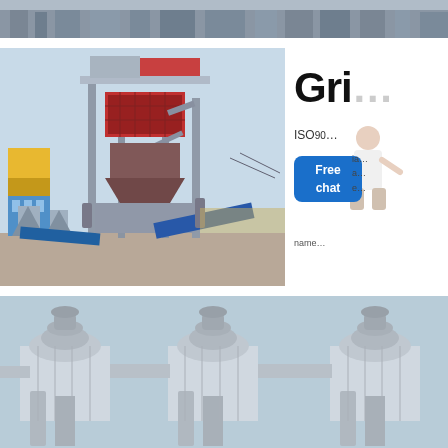[Figure (photo): Top banner strip showing industrial equipment/factory scene, cropped header image]
[Figure (photo): Large industrial grinding/mixing plant machine with metal scaffolding, red and gray components, conveyor belts, against clear blue sky. Yellow and blue building visible on left.]
Gri
ISO 90
[Figure (photo): Person in white shirt gesturing, partially obscured by Free chat button overlay]
Free
chat
[Figure (photo): Bottom strip showing three industrial cyclone dust collectors or grinding mill tops, gray cylindrical structures against blue sky]